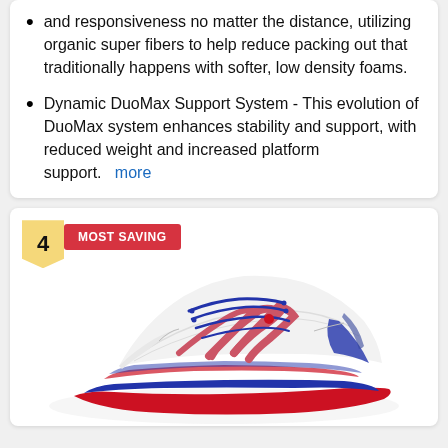and responsiveness no matter the distance, utilizing organic super fibers to help reduce packing out that traditionally happens with softer, low density foams.
Dynamic DuoMax Support System - This evolution of DuoMax system enhances stability and support, with reduced weight and increased platform support. more
[Figure (photo): Running shoe (ASICS) in white/red/blue colorway, shown from the side. Item labeled as rank 4 with a 'MOST SAVING' badge.]